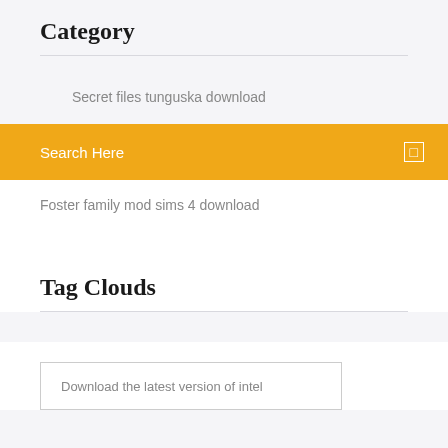Category
Secret files tunguska download
Search Here
Foster family mod sims 4 download
Tag Clouds
Download the latest version of intel